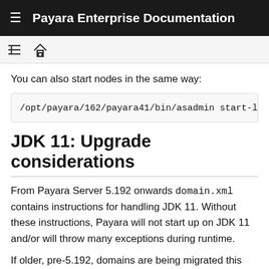Payara Enterprise Documentation
You can also start nodes in the same way:
/opt/payara/162/payara41/bin/asadmin start-lo
JDK 11: Upgrade considerations
From Payara Server 5.192 onwards domain.xml contains instructions for handling JDK 11. Without these instructions, Payara will not start up on JDK 11 and/or will throw many exceptions during runtime.
If older, pre-5.192, domains are being migrated this